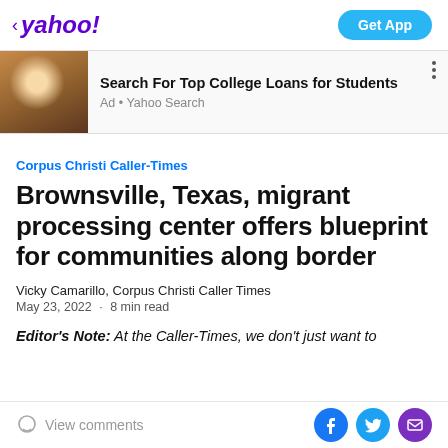< yahoo!    Get App
[Figure (screenshot): Ad banner with image of woman on phone and laptop, text: Search For Top College Loans for Students, Ad • Yahoo Search]
Corpus Christi Caller-Times
Brownsville, Texas, migrant processing center offers blueprint for communities along border
Vicky Camarillo, Corpus Christi Caller Times
May 23, 2022 · 8 min read
Editor's Note: At the Caller-Times, we don't just want to
View comments  [Facebook] [Twitter] [Email]